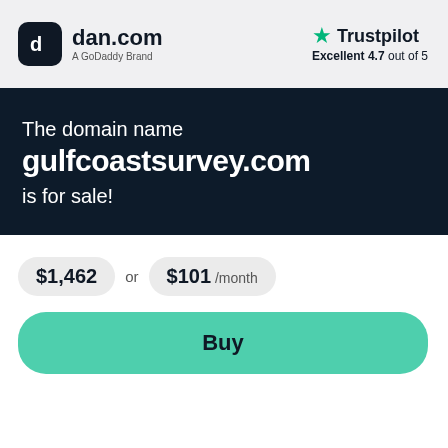[Figure (logo): dan.com logo with GoDaddy Brand tagline and Trustpilot Excellent 4.7 out of 5 rating]
The domain name gulfcoastsurvey.com is for sale!
$1,462 or $101 /month
Buy